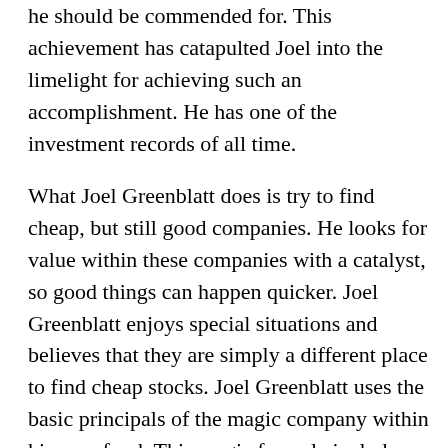he should be commended for. This achievement has catapulted Joel into the limelight for achieving such an accomplishment. He has one of the investment records of all time.
What Joel Greenblatt does is try to find cheap, but still good companies. He looks for value within these companies with a catalyst, so good things can happen quicker. Joel Greenblatt enjoys special situations and believes that they are simply a different place to find cheap stocks. Joel Greenblatt uses the basic principals of the magic company within his own fund. This magic formula includes looking for high ROC and high earnings yield. Joel Greenblatt tries to decipher what “normalized earnings” will be in the future of three to four years